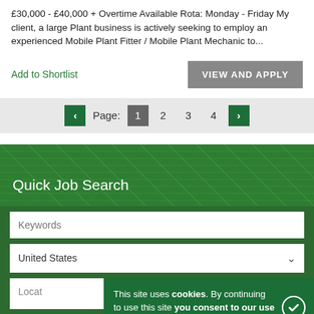£30,000 - £40,000 + Overtime Available Rota: Monday - Friday My client, a large Plant business is actively seeking to employ an experienced Mobile Plant Fitter / Mobile Plant Mechanic to...
Add to Shortlist
VIEW AND APPLY
Page: 1 2 3 4
[Figure (screenshot): Quick Job Search section with green mesh background, Keywords input, United States country dropdown, Location input field, Search button, and a cookie consent banner overlay.]
Quick Job Search
Keywords
United States
This site uses cookies. By continuing to use this site you consent to our use of cookies.
Locat
Search